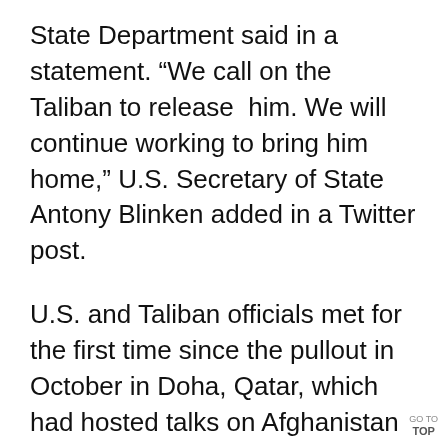State Department said in a statement. “We call on the Taliban to release him. We will continue working to bring him home,” U.S. Secretary of State Antony Blinken added in a Twitter post.
U.S. and Taliban officials met for the first time since the pullout in October in Doha, Qatar, which had hosted talks on Afghanistan that led to the troop withdrawal.
The Qatari emir was due to visit the White House on Monday on a range of issues that will include global energy security
GO TO TOP